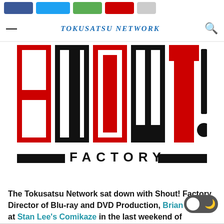Navigation bar with hamburger menu, site logo, and search icon
[Figure (logo): Shout! Factory logo — large bold letters S, H, O, U, T with exclamation mark in red and black blocks, with 'FACTORY' text beneath between two horizontal black bars]
The Tokusatsu Network sat down with Shout! Factory Director of Blu-ray and DVD Production, Brian Ward, at Stan Lee's Comikaze in the last weekend of October.
In Part One, Ward walked the Tokusatsu Network through the DVD authoring process for titles such as Gosei Sentai Dairanger, DVD cover decisions, and the process of subtitling.